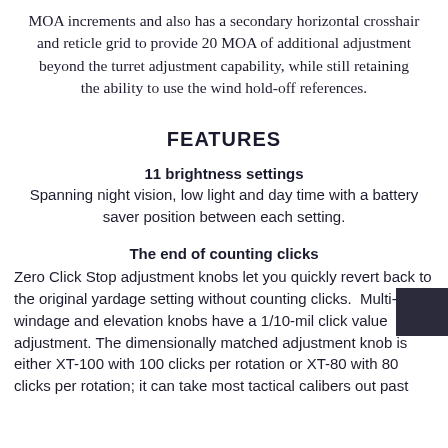MOA increments and also has a secondary horizontal crosshair and reticle grid to provide 20 MOA of additional adjustment beyond the turret adjustment capability, while still retaining the ability to use the wind hold-off references.
FEATURES
11 brightness settings
Spanning night vision, low light and day time with a battery saver position between each setting.
The end of counting clicks
Zero Click Stop adjustment knobs let you quickly revert back to the original yardage setting without counting clicks.  Multi-turn windage and elevation knobs have a 1/10-mil click value adjustment. The dimensionally matched adjustment knob is either XT-100 with 100 clicks per rotation or XT-80 with 80 clicks per rotation; it can take most tactical calibers out past